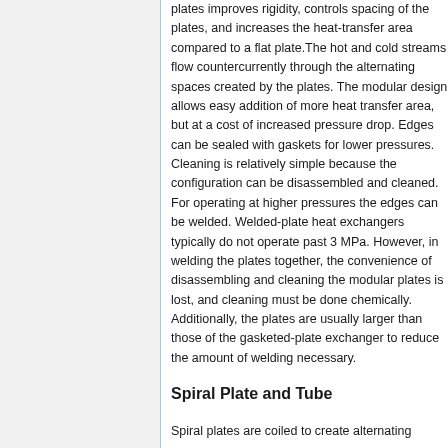plates improves rigidity, controls spacing of the plates, and increases the heat-transfer area compared to a flat plate.The hot and cold streams flow countercurrently through the alternating spaces created by the plates. The modular design allows easy addition of more heat transfer area, but at a cost of increased pressure drop. Edges can be sealed with gaskets for lower pressures. Cleaning is relatively simple because the configuration can be disassembled and cleaned. For operating at higher pressures the edges can be welded. Welded-plate heat exchangers typically do not operate past 3 MPa. However, in welding the plates together, the convenience of disassembling and cleaning the modular plates is lost, and cleaning must be done chemically. Additionally, the plates are usually larger than those of the gasketed-plate exchanger to reduce the amount of welding necessary.
Spiral Plate and Tube
Spiral plates are coiled to create alternating